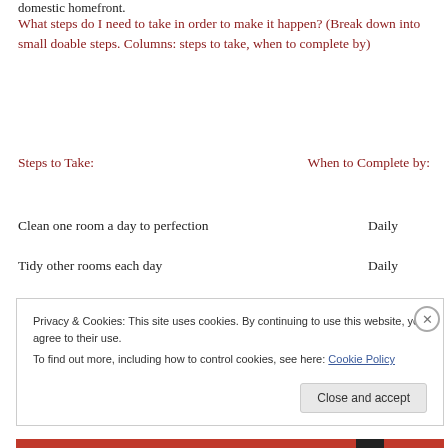domestic homefront.
What steps do I need to take in order to make it happen? (Break down into small doable steps. Columns: steps to take, when to complete by)
Steps to Take:    When to Complete by:
Clean one room a day to perfection    Daily
Tidy other rooms each day    Daily
Privacy & Cookies: This site uses cookies. By continuing to use this website, you agree to their use.
To find out more, including how to control cookies, see here: Cookie Policy
Close and accept